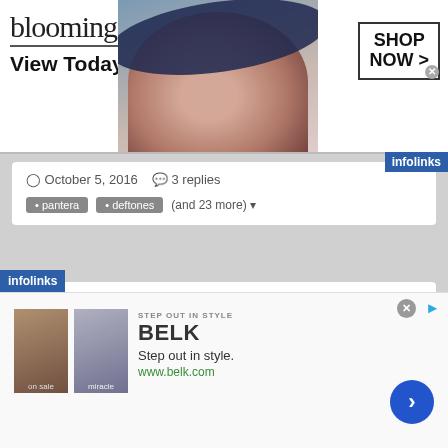[Figure (screenshot): Bloomingdales advertisement banner with logo, 'View Today's Top Deals!' text, model in a hat, and 'SHOP NOW >' call to action box]
October 5, 2016   3 replies
pantera   deftones   (and 23 more)
[Figure (photo): User avatar - circular profile photo with dark/red tones]
FOR SALE:Nirvana-Doused RSD Silver, Refused-Freedom Black/Gold, Hew Time 3x7" & Viloent Soho 7"
audmill posted a topic in Sale/Trade/Wants
[Figure (screenshot): Belk advertisement: 'STEP OUT IN STYLE', BELK logo, 'Step out in style.', 'www.belk.com', two fashion images, blue chevron button]